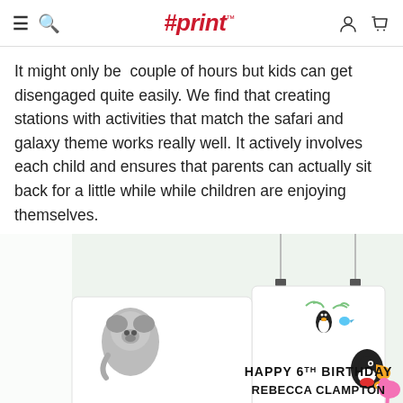#print™
It might only be  couple of hours but kids can get disengaged quite easily. We find that creating stations with activities that match the safari and galaxy theme works really well. It actively involves each child and ensures that parents can actually sit back for a little while while children are enjoying themselves.
[Figure (photo): A birthday party poster/banner showing cartoon safari animals (koala, zebra, tiger, lion, toucan, flamingo, hippo, penguin) with text 'HAPPY 6TH BIRTHDAY REBECCA CLAMPTON'. The poster is hung by two thin display cables from above, set against a light green/white background.]